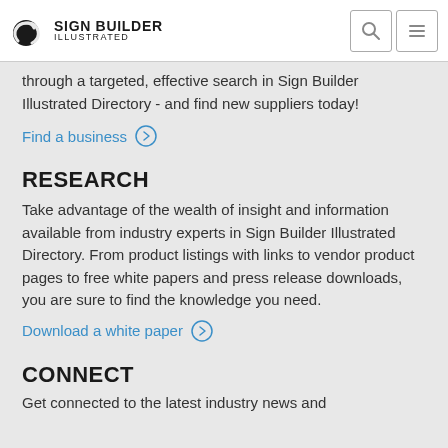SIGN BUILDER ILLUSTRATED
through a targeted, effective search in Sign Builder Illustrated Directory - and find new suppliers today!
Find a business
RESEARCH
Take advantage of the wealth of insight and information available from industry experts in Sign Builder Illustrated Directory. From product listings with links to vendor product pages to free white papers and press release downloads, you are sure to find the knowledge you need.
Download a white paper
CONNECT
Get connected to the latest industry news and